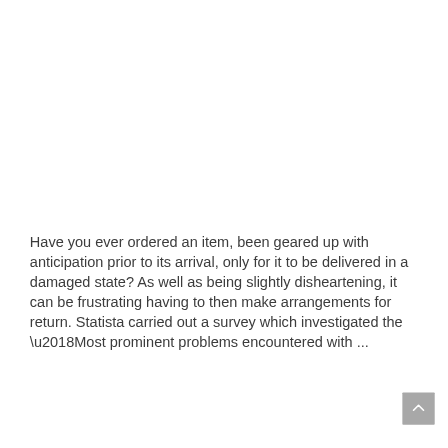Have you ever ordered an item, been geared up with anticipation prior to its arrival, only for it to be delivered in a damaged state? As well as being slightly disheartening, it can be frustrating having to then make arrangements for return. Statista carried out a survey which investigated the ‘Most prominent problems encountered with ...